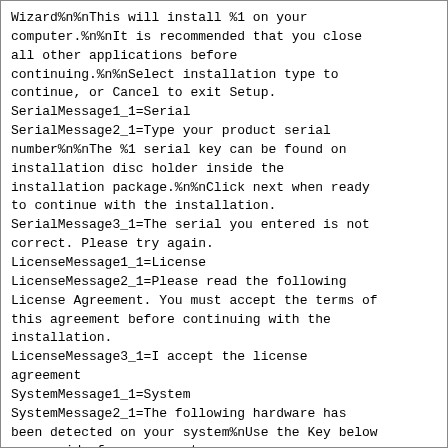Wizard%n%nThis will install %1 on your computer.%n%nIt is recommended that you close all other applications before continuing.%n%nSelect installation type to continue, or Cancel to exit Setup.
SerialMessage1_1=Serial
SerialMessage2_1=Type your product serial number%n%nThe %1 serial key can be found on installation disc holder inside the installation package.%n%nClick next when ready to continue with the installation.
SerialMessage3_1=The serial you entered is not correct. Please try again.
LicenseMessage1_1=License
LicenseMessage2_1=Please read the following License Agreement. You must accept the terms of this agreement before continuing with the installation.
LicenseMessage3_1=I accept the license agreement
SystemMessage1_1=System
SystemMessage2_1=The following hardware has been detected on your system%nUse the Key below as a guide for your system
SystemMessage3_1=Processor
SystemMessage3_2=Video
SystemMessage3_2_1=Unavaliable
SystemMessage3_3=Memory
SystemMessage3_4=Sound
SystemMessage3_4_1=Unavaliable